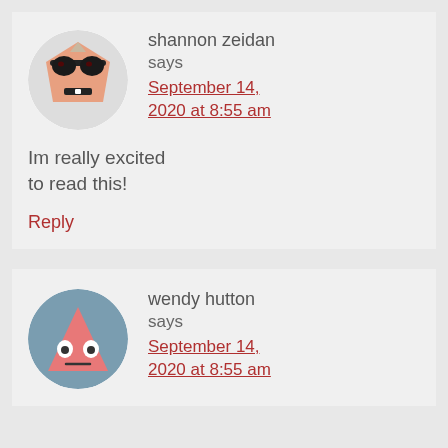shannon zeidan says September 14, 2020 at 8:55 am
Im really excited to read this!
Reply
[Figure (illustration): Cartoon avatar of a robot-like face wearing sunglasses, reddish-orange face, on a beige/grey circular background]
wendy hutton says September 14, 2020 at 8:55 am
[Figure (illustration): Cartoon avatar of a pink triangle-shaped character with googly eyes on a grey-blue circular background]